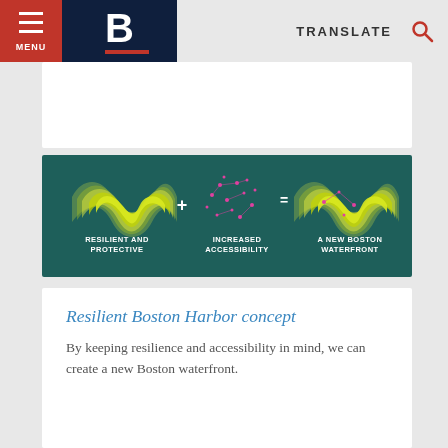MENU | B [Boston logo] | TRANSLATE [search icon]
[Figure (infographic): Infographic on dark teal background showing: a wavy green/yellow striped shape labeled 'RESILIENT AND PROTECTIVE', plus sign, pink/magenta scattered dots labeled 'INCREASED ACCESSIBILITY', equals sign, combined wavy shape with pink elements labeled 'A NEW BOSTON WATERFRONT']
Resilient Boston Harbor concept
By keeping resilience and accessibility in mind, we can create a new Boston waterfront.